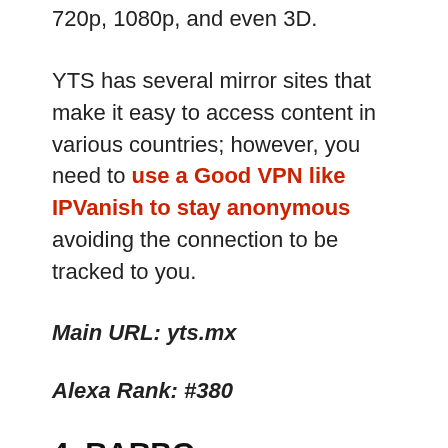720p, 1080p, and even 3D.
YTS has several mirror sites that make it easy to access content in various countries; however, you need to use a Good VPN like IPVanish to stay anonymous avoiding the connection to be tracked to you.
Main URL: yts.mx
Alexa Rank: #380
4. RARBG